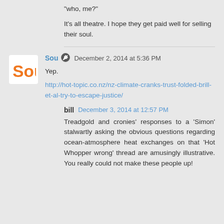"who, me?"
It's all theatre. I hope they get paid well for selling their soul.
Sou   December 2, 2014 at 5:36 PM
Yep.
http://hot-topic.co.nz/nz-climate-cranks-trust-folded-brill-et-al-try-to-escape-justice/
bill   December 3, 2014 at 12:57 PM
Treadgold and cronies' responses to a 'Simon' stalwartly asking the obvious questions regarding ocean-atmosphere heat exchanges on that 'Hot Whopper wrong' thread are amusingly illustrative. You really could not make these people up!